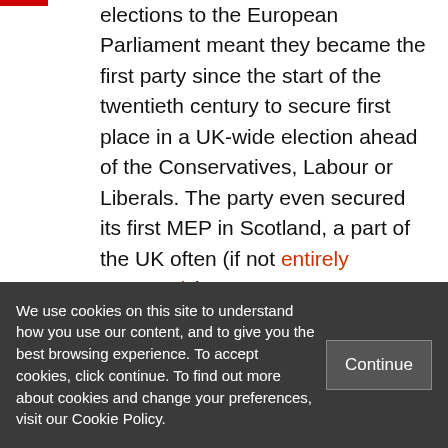elections to the European Parliament meant they became the first party since the start of the twentieth century to secure first place in a UK-wide election ahead of the Conservatives, Labour or Liberals. The party even secured its first MEP in Scotland, a part of the UK often (if not entirely accurately) seen as more pro-European.

But UKIP's achievements – especially in the local election results that took place on the
We use cookies on this site to understand how you use our content, and to give you the best browsing experience. To accept cookies, click continue. To find out more about cookies and change your preferences, visit our Cookie Policy.